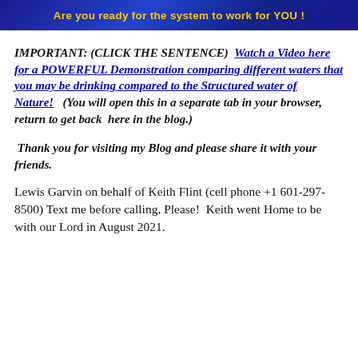[Figure (illustration): Banner image with blue gradient background and yellow bold text: 'Are you ready for the system to work for YOU!']
IMPORTANT: (CLICK THE SENTENCE)  Watch a Video here for a POWERFUL Demonstration comparing different waters that you may be drinking compared to the Structured water of Nature!   (You will open this in a separate tab in your browser, return to get back  here in the blog.)
Thank you for visiting my Blog and please share it with your friends.
Lewis Garvin on behalf of Keith Flint (cell phone +1 601-297-8500) Text me before calling, Please!  Keith went Home to be with our Lord in August 2021.